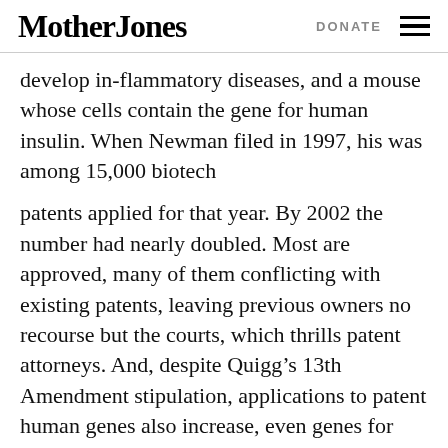Mother Jones | DONATE
develop in-flammatory diseases, and a mouse whose cells contain the gene for human insulin. When Newman filed in 1997, his was among 15,000 biotech
patents applied for that year. By 2002 the number had nearly doubled. Most are approved, many of them conflicting with existing patents, leaving previous owners no recourse but the courts, which thrills patent attorneys. And, despite Quigg’s 13th Amendment stipulation, applications to patent human genes also increase, even genes for which there is no known purpose or product. And they are approved. When objections are raised to this practice, particularly by scientists, the